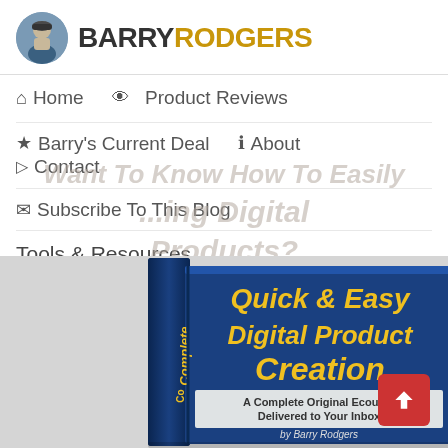BARRY RODGERS
Home
Product Reviews
Barry's Current Deal
About
Contact
Subscribe To This Blog
Tools & Resources
[Figure (illustration): Book cover for 'Quick & Easy Digital Product Creation - A Complete Original Ecourse Delivered to Your Inbox by Barry Rodgers']